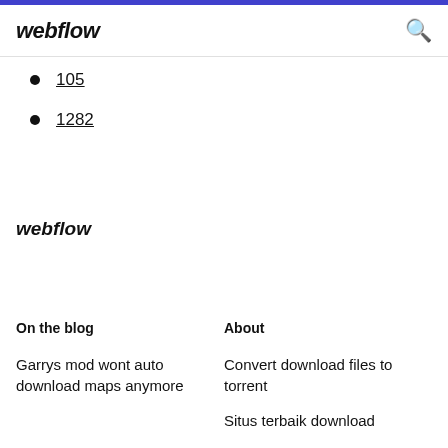webflow
105
1282
webflow
On the blog
About
Garrys mod wont auto download maps anymore
Convert download files to torrent
Situs terbaik download